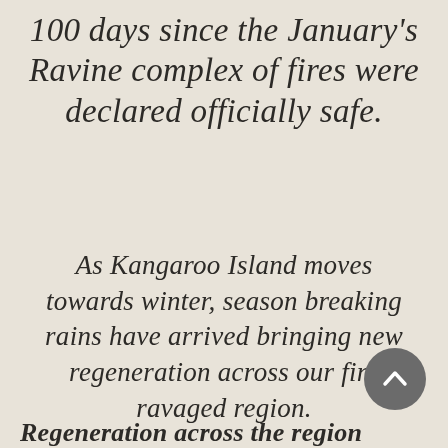100 days since the January's Ravine complex of fires were declared officially safe.
As Kangaroo Island moves towards winter, season breaking rains have arrived bringing new regeneration across our fire ravaged region.
[Figure (other): A circular scroll-to-top button with a dark grey background and a white upward-pointing chevron arrow.]
Regeneration across the region